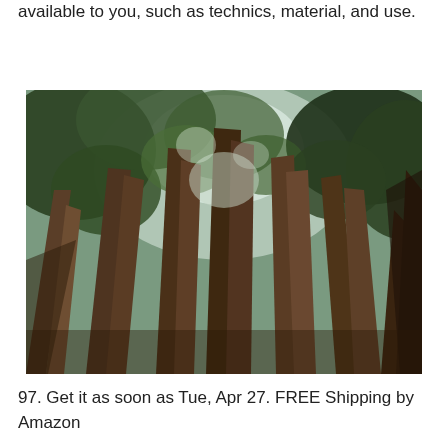available to you, such as technics, material, and use.
[Figure (photo): Upward-looking photograph of tall redwood or cedar trees with green foliage canopy and light sky visible through the branches]
97. Get it as soon as Tue, Apr 27. FREE Shipping by Amazon